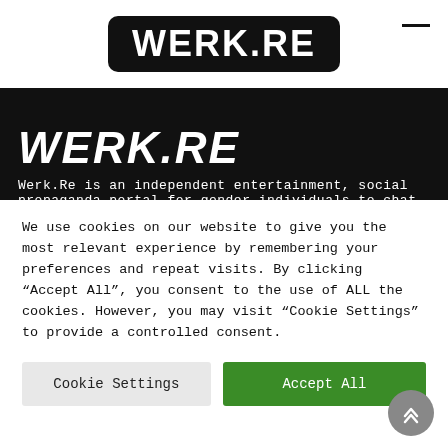[Figure (logo): WERK.RE logo in white bold text on a black rounded rectangle background]
[Figure (logo): WERK.RE text in white bold italic on black hero banner background]
Werk.Re is an independent entertainment, social propaganda portal for gender individuals to chat
We use cookies on our website to give you the most relevant experience by remembering your preferences and repeat visits. By clicking “Accept All”, you consent to the use of ALL the cookies. However, you may visit “Cookie Settings” to provide a controlled consent.
Cookie Settings
Accept All